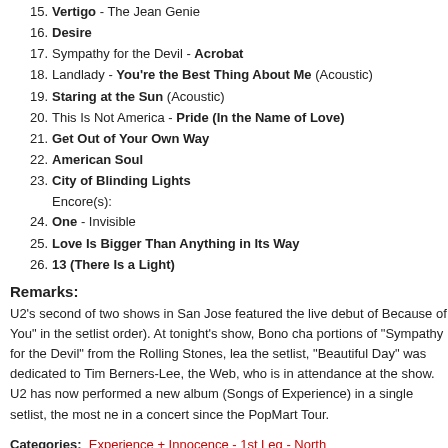15. Vertigo - The Jean Genie
16. Desire
17. Sympathy for the Devil - Acrobat
18. Landlady - You're the Best Thing About Me (Acoustic)
19. Staring at the Sun (Acoustic)
20. This Is Not America - Pride (In the Name of Love)
21. Get Out of Your Own Way
22. American Soul
23. City of Blinding Lights
Encore(s):
24. One - Invisible
25. Love Is Bigger Than Anything in Its Way
26. 13 (There Is a Light)
Remarks:
U2's second of two shows in San Jose featured the live debut of Because of You" in the setlist order). At tonight's show, Bono changed portions of "Sympathy for the Devil" from the Rolling Stones, leading the setlist, "Beautiful Day" was dedicated to Tim Berners-Lee, the Web, who is in attendance at the show. U2 has now performed a new album (Songs of Experience) in a single setlist, the most new in a concert since the PopMart Tour.
Categories: Experience + Innocence - 1st Leg - North America, Experience +
Tags: Experience + Innocence Tour, San Jose
No TrackBacks